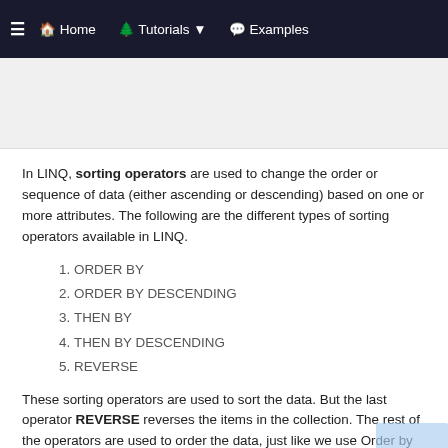≡  🏠 Home    🌲 Tutorials ▼    💬 Examples
In LINQ, sorting operators are used to change the order or sequence of data (either ascending or descending) based on one or more attributes. The following are the different types of sorting operators available in LINQ.
1. ORDER BY
2. ORDER BY DESCENDING
3. THEN BY
4. THEN BY DESCENDING
5. REVERSE
These sorting operators are used to sort the data. But the last operator REVERSE reverses the items in the collection. The rest of the operators are used to order the data, just like we use Order by clause in SQL. These sorting operators are similar to what we